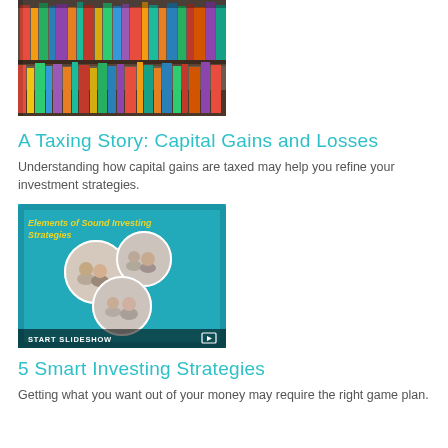[Figure (photo): Photo of colorful books on library shelves]
A Taxing Story: Capital Gains and Losses
Understanding how capital gains are taxed may help you refine your investment strategies.
[Figure (screenshot): Screenshot of a slideshow titled 'Elements of Sound Investing Strategies' showing family photos on a tablet with a 'START SLIDESHOW' button]
5 Smart Investing Strategies
Getting what you want out of your money may require the right game plan.